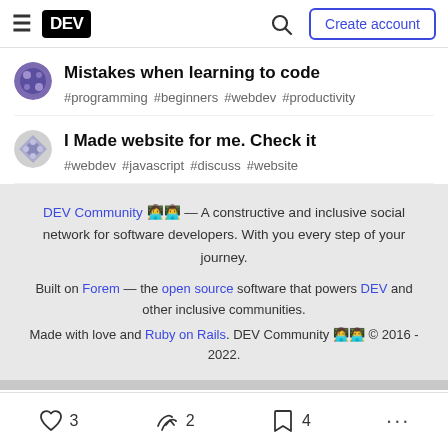DEV — Create account
Mistakes when learning to code
#programming #beginners #webdev #productivity
I Made website for me. Check it
#webdev #javascript #discuss #website
DEV Community 👩‍💻👨‍💻 — A constructive and inclusive social network for software developers. With you every step of your journey.

Built on Forem — the open source software that powers DEV and other inclusive communities.
Made with love and Ruby on Rails. DEV Community 👩‍💻👨‍💻 © 2016 - 2022.
3   2   4   ...